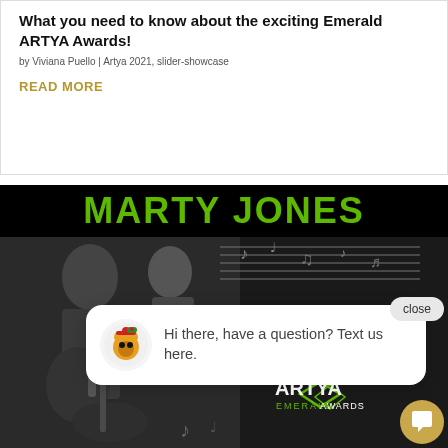What you need to know about the exciting Emerald ARTYA Awards!
by Viviana Puello | Artya 2021, slider-showcase
READ MORE
[Figure (screenshot): Screenshot of a website featuring Marty Jones article with a chat popup overlay showing 'Hi there, have a question? Text us here.' and an ARTYA Emerald Awards logo in the corner. Background shows a grayscale guitarist image.]